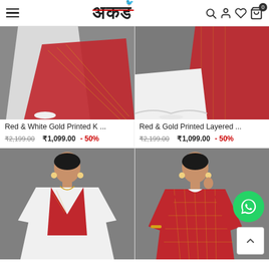AKD store header with hamburger menu, logo, search, account, wishlist, and cart icons
[Figure (photo): Red and white Indian ethnic outfit showing skirt/lehenga bottom portion]
Red & White Gold Printed K ...
₹2,199.00  ₹1,099.00  - 50%
[Figure (photo): Red and gold printed layered Indian ethnic outfit showing lower portion]
Red & Gold Printed Layered ...
₹2,199.00  ₹1,099.00  - 50%
[Figure (photo): Woman wearing white anarkali with red printed jacket/koti overlay]
[Figure (photo): Woman wearing red checkered/printed straight kurta]